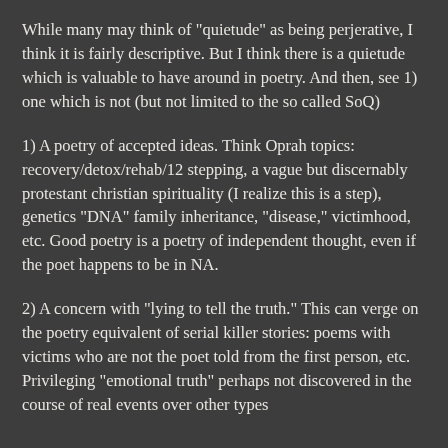While many may think of "quietude" as being perjerative, I think it is fairly descriptive. But I think there is a quietude which is valuable to have around in poetry. And then, see 1) one which is not (but not limited to the so called SoQ)
1) A poetry of accepted ideas. Think Oprah topics: recovery/detox/rehab/12 stepping, a vague but discernably protestant christian spirituality (I realize this is a step), genetics "DNA" family inheritance, "disease," victimhood, etc. Good poetry is a poetry of independent thought, even if the poet happens to be in NA.
2) A concern with "lying to tell the truth." This can verge on the poetry equivalent of serial killer stories: poems with victims who are not the poet told from the first person, etc. Privileging "emotional truth" perhaps not discovered in the course of real events over other types